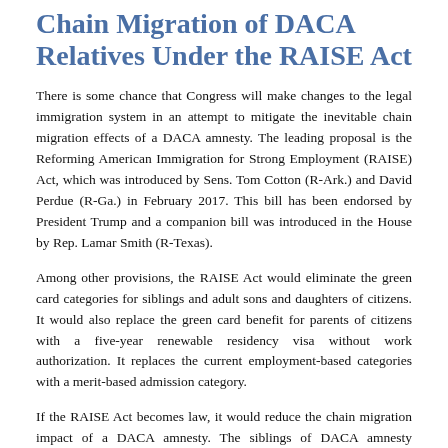Chain Migration of DACA Relatives Under the RAISE Act
There is some chance that Congress will make changes to the legal immigration system in an attempt to mitigate the inevitable chain migration effects of a DACA amnesty. The leading proposal is the Reforming American Immigration for Strong Employment (RAISE) Act, which was introduced by Sens. Tom Cotton (R-Ark.) and David Perdue (R-Ga.) in February 2017. This bill has been endorsed by President Trump and a companion bill was introduced in the House by Rep. Lamar Smith (R-Texas).
Among other provisions, the RAISE Act would eliminate the green card categories for siblings and adult sons and daughters of citizens. It would also replace the green card benefit for parents of citizens with a five-year renewable residency visa without work authorization. It replaces the current employment-based categories with a merit-based admission category.
If the RAISE Act becomes law, it would reduce the chain migration impact of a DACA amnesty. The siblings of DACA amnesty beneficiaries would no longer qualify for green cards based on their family relationship, but some might qualify under the merit category, particularly any who have attended college here. The